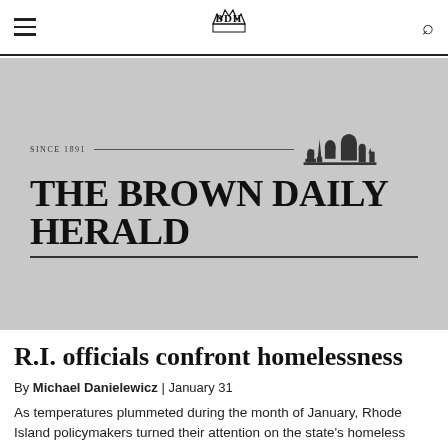BDH
[Figure (logo): The Brown Daily Herald masthead logo showing 'SINCE 1891 — THE BROWN DAILY HERALD' with a decorative skyline/crown illustration, on a gray background]
R.I. officials confront homelessness
By Michael Danielewicz | January 31
As temperatures plummeted during the month of January, Rhode Island policymakers turned their attention on the state's homeless